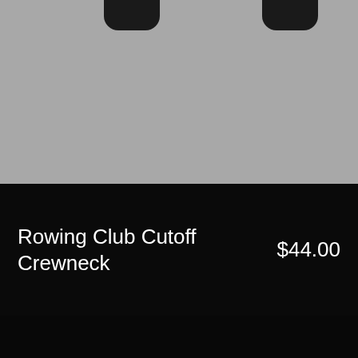[Figure (photo): Product image area showing partial view of a dark crewneck sweatshirt against a gray background, with dark sleeves visible at the top]
Rowing Club Cutoff Crewneck
$44.00